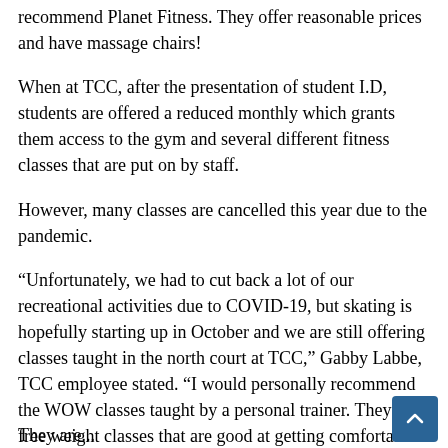recommend Planet Fitness. They offer reasonable prices and have massage chairs!
When at TCC, after the presentation of student I.D, students are offered a reduced monthly which grants them access to the gym and several different fitness classes that are put on by staff.
However, many classes are cancelled this year due to the pandemic.
“Unfortunately, we had to cut back a lot of our recreational activities due to COVID-19, but skating is hopefully starting up in October and we are still offering classes taught in the north court at TCC,” Gabby Labbe, TCC employee stated. “I would personally recommend the WOW classes taught by a personal trainer. They are free weight classes that are good at getting comfortable or for picking up new ideas. They are Tuesday evenings 5:15-6 p.m.”
They are...